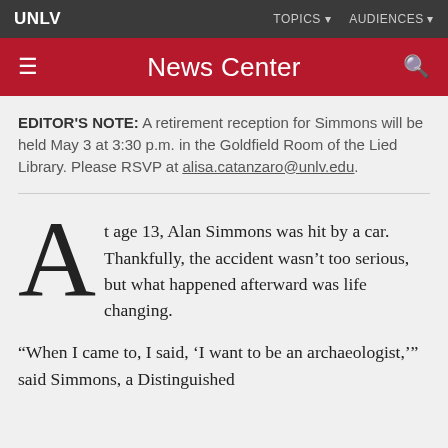UNLV | TOPICS | AUDIENCES
News Center
EDITOR'S NOTE: A retirement reception for Simmons will be held May 3 at 3:30 p.m. in the Goldfield Room of the Lied Library. Please RSVP at alisa.catanzaro@unlv.edu.
At age 13, Alan Simmons was hit by a car. Thankfully, the accident wasn't too serious, but what happened afterward was life changing.
“When I came to, I said, ‘I want to be an archaeologist,’” said Simmons, a Distinguished